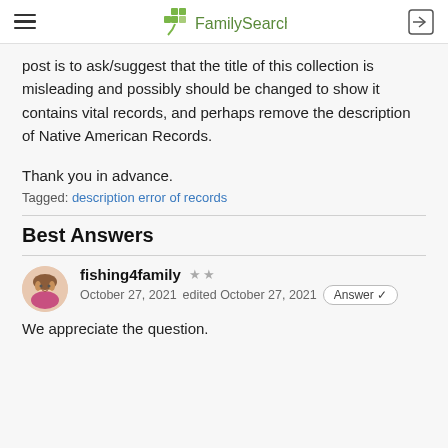FamilySearch
post is to ask/suggest that the title of this collection is misleading and possibly should be changed to show it contains vital records, and perhaps remove the description of Native American Records.
Thank you in advance.
Tagged: description error of records
Best Answers
fishing4family  ★★  October 27, 2021  edited October 27, 2021  Answer ✓
We appreciate the question.